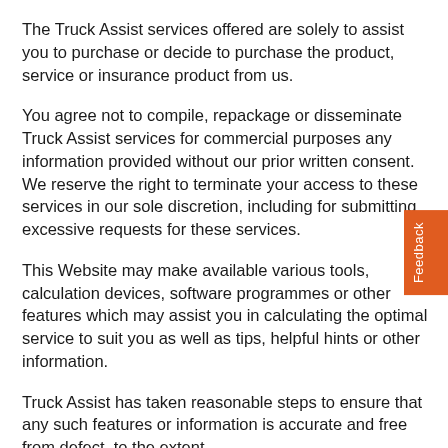The Truck Assist services offered are solely to assist you to purchase or decide to purchase the product, service or insurance product from us.
You agree not to compile, repackage or disseminate Truck Assist services for commercial purposes any information provided without our prior written consent. We reserve the right to terminate your access to these services in our sole discretion, including for submitting excessive requests for these services.
This Website may make available various tools, calculation devices, software programmes or other features which may assist you in calculating the optimal service to suit you as well as tips, helpful hints or other information.
Truck Assist has taken reasonable steps to ensure that any such features or information is accurate and free from defect, to the extent